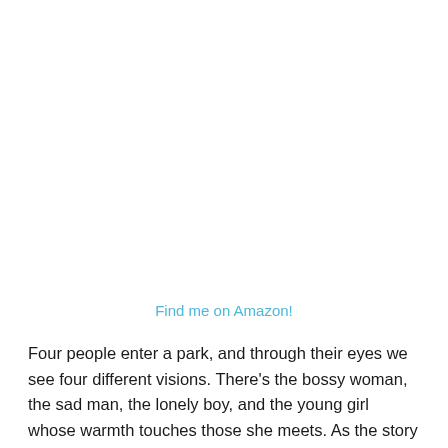Find me on Amazon!
Four people enter a park, and through their eyes we see four different visions. There’s the bossy woman, the sad man, the lonely boy, and the young girl whose warmth touches those she meets. As the story moves from one